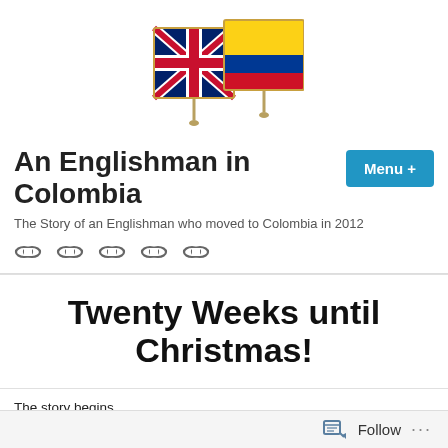[Figure (illustration): Two crossed flag pins — UK Union Jack flag and Colombian flag side by side, used as blog header image]
An Englishman in Colombia
The Story of an Englishman who moved to Colombia in 2012
[Figure (infographic): Five chain link icons representing navigation links]
Twenty Weeks until Christmas!
The story begins...